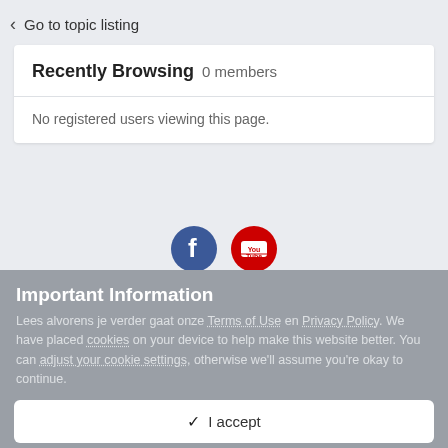< Go to topic listing
Recently Browsing   0 members
No registered users viewing this page.
[Figure (logo): Facebook and YouTube social media icons]
Important Information
Lees alvorens je verder gaat onze Terms of Use en Privacy Policy. We have placed cookies on your device to help make this website better. You can adjust your cookie settings, otherwise we'll assume you're okay to continue.
✓ I accept